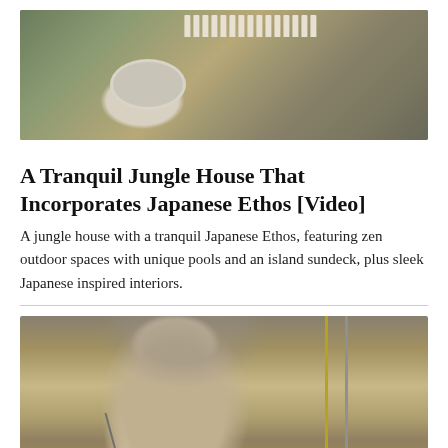[Figure (photo): Aerial view of a jungle house with zen outdoor spaces, a pool with oval shape, and comb-like architectural structure, surrounded by greenery]
A Tranquil Jungle House That Incorporates Japanese Ethos [Video]
A jungle house with a tranquil Japanese Ethos, featuring zen outdoor spaces with unique pools and an island sundeck, plus sleek Japanese inspired interiors.
[Figure (photo): Older man in a dark suit and blue tie speaking at a podium with a microphone, ornate painting in background, flags visible to the right]